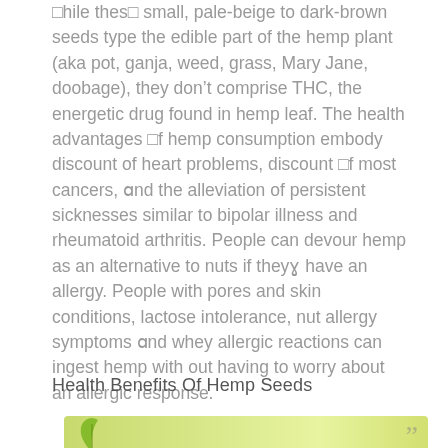□hile thes□ small, pale-beige to dark-brown seeds type the edible part of the hemp plant (aka pot, ganja, weed, grass, Mary Jane, doobage), they don’t comprise THC, the energetic drug found in hemp leaf. The health advantages □f hemp consumption embody discount of heart problems, discount □f most cancers, and the alleviation of persistent sicknesses similar to bipolar illness and rheumatoid arthritis. People can devour hemp as an alternative to nuts if they have an allergy. People with pores and skin conditions, lactose intolerance, nut allergy symptoms and whey allergic reactions can ingest hemp with out having to worry about an allergic response.
Health Benefits Of Hemp Seeds
[Figure (illustration): Bottom portion of a decorative image with green/yellow gradient background, partial leaf graphic on left edge and partial quotation mark on right side]